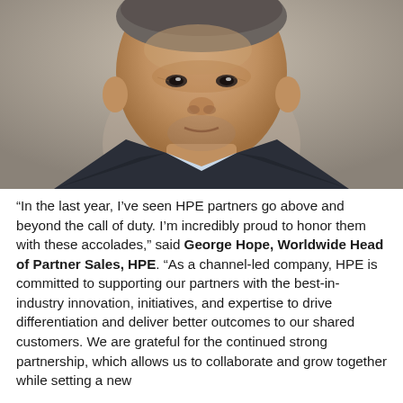[Figure (photo): Headshot portrait of a middle-aged man in a dark blazer and light blue shirt, photographed against a grey-brown background. The image is a close-up showing head and upper chest.]
“In the last year, I’ve seen HPE partners go above and beyond the call of duty. I’m incredibly proud to honor them with these accolades,” said George Hope, Worldwide Head of Partner Sales, HPE. “As a channel-led company, HPE is committed to supporting our partners with the best-in-industry innovation, initiatives, and expertise to drive differentiation and deliver better outcomes to our shared customers. We are grateful for the continued strong partnership, which allows us to collaborate and grow together while setting a new…